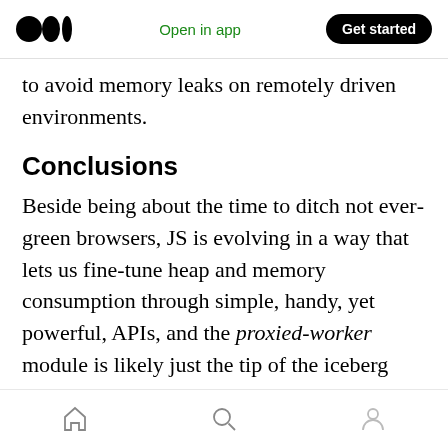Medium logo | Open in app | Get started
to avoid memory leaks on remotely driven environments.
Conclusions
Beside being about the time to ditch not evergreen browsers, JS is evolving in a way that lets us fine-tune heap and memory consumption through simple, handy, yet powerful, APIs, and the proxied-worker module is likely just the tip of the iceberg these primitives unlock, so please explore, and create, new patterns, utilities, or libraries, able to avoid memory leaks, in what's
Home | Search | Profile